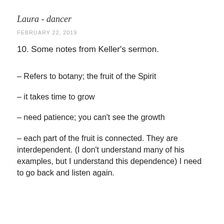Laura - dancer
FEBRUARY 22, 2019
10. Some notes from Keller's sermon.
– Refers to botany; the fruit of the Spirit
– it takes time to grow
– need patience; you can't see the growth
– each part of the fruit is connected. They are interdependent. (I don't understand many of his examples, but I understand this dependence) I need to go back and listen again.